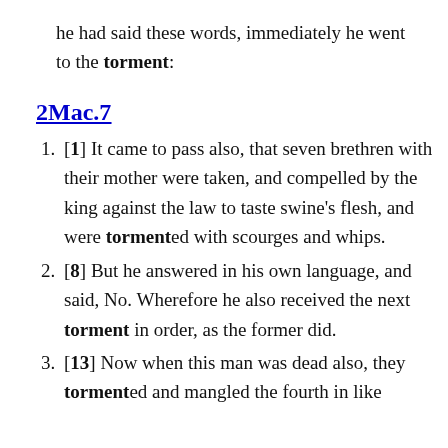he had said these words, immediately he went to the torment:
2Mac.7
[1] It came to pass also, that seven brethren with their mother were taken, and compelled by the king against the law to taste swine's flesh, and were tormented with scourges and whips.
[8] But he answered in his own language, and said, No. Wherefore he also received the next torment in order, as the former did.
[13] Now when this man was dead also, they tormented and mangled the fourth in like